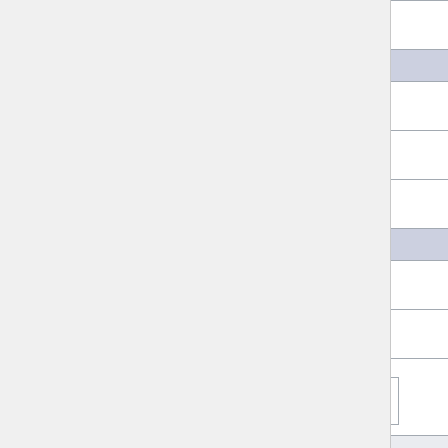| Version | Date | Type |
| --- | --- | --- |
| pgpoolAdmin 3.1.0 | 2011-10-14 | So- .gz |
| pgpoolAdmin 3.0 |  |  |
| pgpoolAdmin 3.0.3 | 2011-03-11 | So- .gz |
| pgpoolAdmin 3.0.1 | 2010-09-24 | So- .gz |
| pgpoolAdmin 3.0 | 2010-09-10 | So- .gz |
| pgpoolAdmin 2.3 |  |  |
| pgpoolAdmin 2.3.1 | 2010-09-24 | So- .gz |
| pgpoolAdmin 2.3 | 2009-12-08 | So- .gz |
pgpool-HA
|  | Date | Type |
| --- | --- | --- |